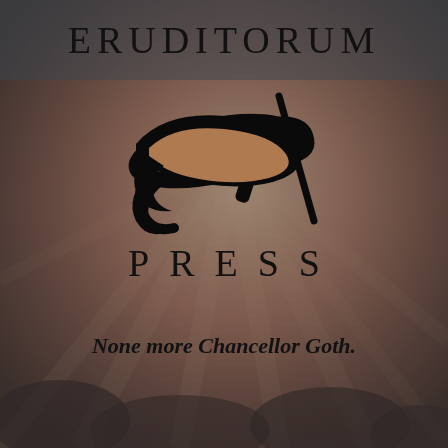[Figure (illustration): Background image with warm reddish-brown tones showing figures, overlaid with a dark grayish-blue semi-transparent tint. Radiating light beams visible in the center-upper area.]
ERUDITORUM
[Figure (logo): Eruditorum Press stylized logo: an ornate cursive 'EP' monogram in black with flowing calligraphic strokes.]
PRESS
None more Chancellor Goth.